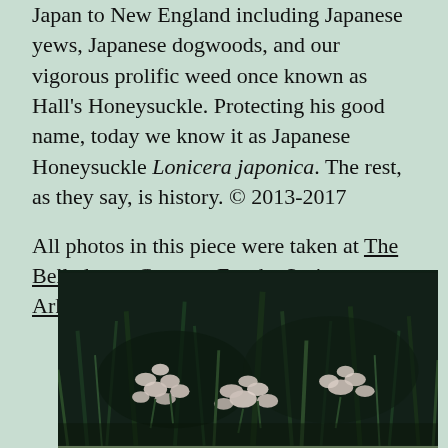Japan to New England including Japanese yews, Japanese dogwoods, and our vigorous prolific weed once known as Hall's Honeysuckle. Protecting his good name, today we know it as Japanese Honeysuckle Lonicera japonica.  The rest, as they say, is history. © 2013-2017
All photos in this piece were taken at The Belladonna Cottage, Eureka Springs, Arkansas | 479-253-1836
[Figure (photo): Photograph of pale pink flowers (possibly Japanese Honeysuckle or similar) with grass and dark green foliage in the background, taken outdoors.]